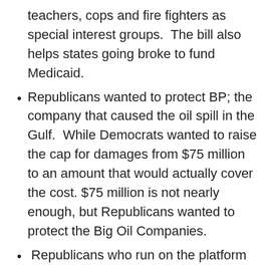teachers, cops and fire fighters as special interest groups.  The bill also helps states going broke to fund Medicaid.
Republicans wanted to protect BP; the company that caused the oil spill in the Gulf.  While Democrats wanted to raise the cap for damages from $75 million to an amount that would actually cover the cost. $75 million is not nearly enough, but Republicans wanted to protect the Big Oil Companies.
Republicans who run on the platform of repealing the 14th Amendment are insane, HA!!!!  Constitutional Amendments are very very difficult to pass; a perfect example of this is the Equal Rights Amendment aka